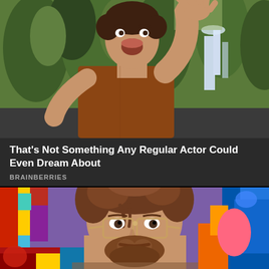[Figure (photo): A man with his arm raised, reaching up, mouth open, wearing a rust/brown t-shirt, outdoors with green hedges and a fountain in the background.]
That's Not Something Any Regular Actor Could Even Dream About
BRAINBERRIES
[Figure (photo): A bearded young man with curly brown hair wearing vintage-style glasses, photographed in front of a colorful abstract/pop-art background with bright reds, yellows, blues, greens, and purples.]